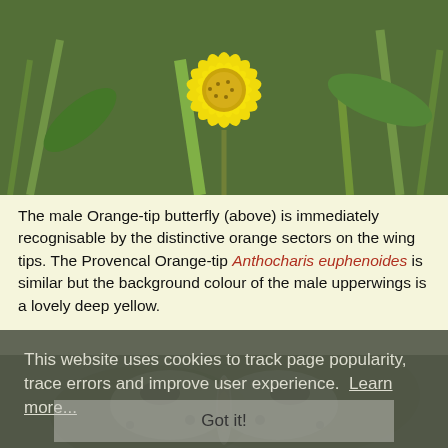[Figure (photo): Close-up photograph of a bright yellow daisy-like flower (Crepis or similar) with green leaves and grass in background]
The male Orange-tip butterfly (above) is immediately recognisable by the distinctive orange sectors on the wing tips. The Provencal Orange-tip Anthocharis euphenoides is similar but the background colour of the male upperwings is a lovely deep yellow.
[Figure (photo): Partially visible photograph of a butterfly (Orange-tip or similar) with white/grey wings showing dark markings, obscured by cookie consent overlay]
This website uses cookies to track page popularity, trace errors and improve user experience.  Learn more...
Got it!